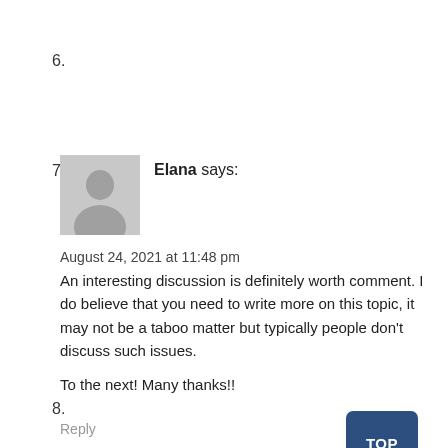6.
7.
[Figure (illustration): Generic user avatar silhouette in gray]
Elana says:
August 24, 2021 at 11:48 pm
An interesting discussion is definitely worth comment. I do believe that you need to write more on this topic, it may not be a taboo matter but typically people don't discuss such issues.

To the next! Many thanks!!
Reply
8.